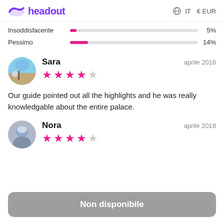headout   IT  € EUR
[Figure (bar-chart): Rating bars]
Sara   aprile 2018
★★★★☆
Our guide pointed out all the highlights and he was really knowledgable about the entire palace.
Nora   aprile 2018
★★★★☆
Non disponibile